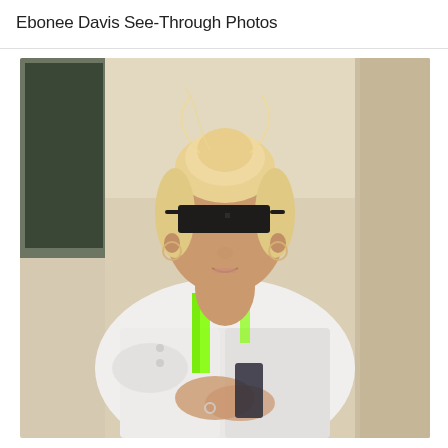Ebonee Davis See-Through Photos
[Figure (photo): A young woman with blonde hair pulled up, wearing large black cat-eye sunglasses, a neon green/lime spaghetti strap top visible under a white oversized denim jacket worn off-shoulder. She is holding something dark (possibly a phone) with both hands. The background shows a light-colored building facade and a dark window frame.]